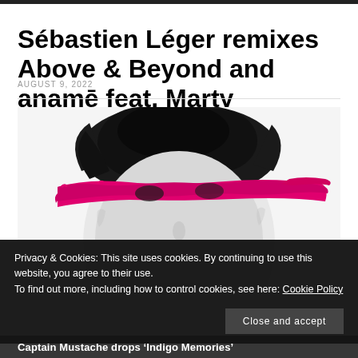Sébastien Léger remixes Above & Beyond and anamē feat. Marty Longstaff, 'Gratitude'
AUGUST 9, 2022
[Figure (photo): Black and white portrait photo of a man with dark hair, face partially obscured by a bold horizontal magenta/pink brushstroke band across the eyes area]
Privacy & Cookies: This site uses cookies. By continuing to use this website, you agree to their use.
To find out more, including how to control cookies, see here: Cookie Policy
Close and accept
Captain Mustache drops 'Indigo Memories'